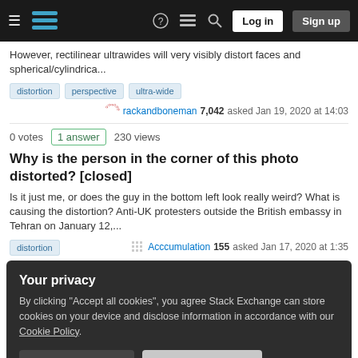[Figure (screenshot): Stack Exchange navigation bar with hamburger menu, logo, help/chat/search icons, Log in and Sign up buttons]
However, rectilinear ultrawides will very visibly distort faces and spherical/cylindrica...
distortion
perspective
ultra-wide
rackandboneman 7,042 asked Jan 19, 2020 at 14:03
0 votes 1 answer 230 views
Why is the person in the corner of this photo distorted? [closed]
Is it just me, or does the guy in the bottom left look really weird? What is causing the distortion? Anti-UK protesters outside the British embassy in Tehran on January 12,...
distortion
Acccumulation 155 asked Jan 17, 2020 at 1:35
Your privacy
By clicking "Accept all cookies", you agree Stack Exchange can store cookies on your device and disclose information in accordance with our Cookie Policy.
Accept all cookies
Customize settings
George 101 asked Nov 22, 2019 at 10:47